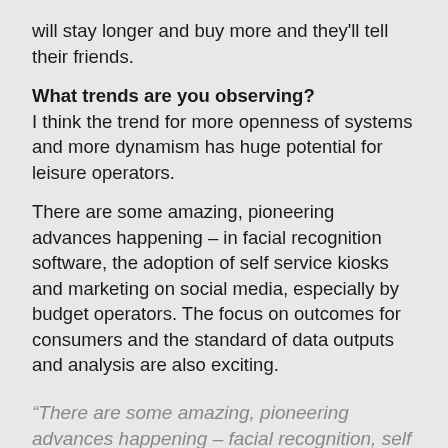will stay longer and buy more and they'll tell their friends.
What trends are you observing? I think the trend for more openness of systems and more dynamism has huge potential for leisure operators.
There are some amazing, pioneering advances happening – in facial recognition software, the adoption of self service kiosks and marketing on social media, especially by budget operators. The focus on outcomes for consumers and the standard of data outputs and analysis are also exciting.
“There are some amazing, pioneering advances happening – facial recognition, self service